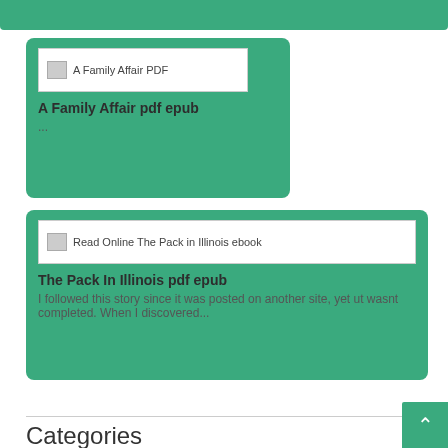[Figure (screenshot): Green top navigation bar (cropped)]
[Figure (screenshot): Card for 'A Family Affair pdf epub' with broken image placeholder and ellipsis text]
A Family Affair pdf epub
...
[Figure (screenshot): Card for 'The Pack In Illinois pdf epub' with broken image placeholder and description text]
The Pack In Illinois pdf epub
I followed this story since it was posted on another site, yet ut wasnt completed. When I discovered...
Categories